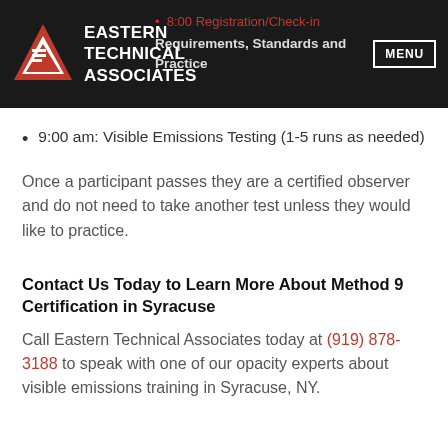Eastern Technical Associates — MENU header bar
8:00 am: Registration/Check-in
Requirements, Standards and Practice
9:00 am: Visible Emissions Testing (1-5 runs as needed)
Once a participant passes they are a certified observer and do not need to take another test unless they would like to practice.
Contact Us Today to Learn More About Method 9 Certification in Syracuse
Call Eastern Technical Associates today at (919) 878-3188 to speak with one of our opacity experts about visible emissions training in Syracuse, NY.